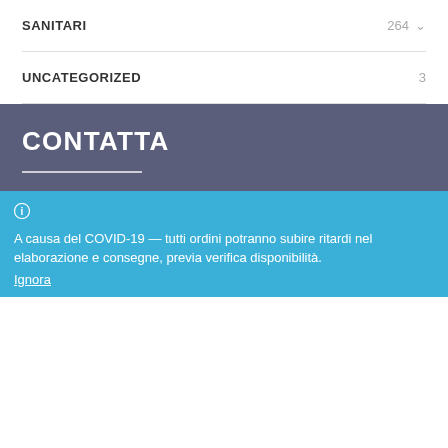SANITARI 264
UNCATEGORIZED 3
CONTATTA
0736892488
info@jdstore.it
A causa del COVID-19 — tutti ordini potranno subire ritardi nel elaborazione e consegne, previa verifica disponibilità. Ignora